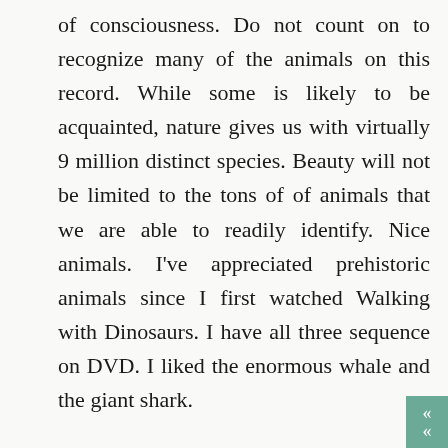of consciousness. Do not count on to recognize many of the animals on this record. While some is likely to be acquainted, nature gives us with virtually 9 million distinct species. Beauty will not be limited to the tons of of animals that we are able to readily identify. Nice animals. I've appreciated prehistoric animals since I first watched Walking with Dinosaurs. I have all three sequence on DVD. I liked the enormous whale and the giant shark.
Though my calm, cool and picked up husband assured me these humungous wasps aren't aggressive, I've learn that the sting is among